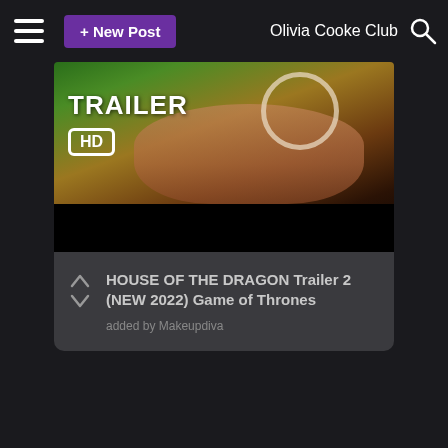≡  + New Post    Olivia Cooke Club  🔍
[Figure (screenshot): Video thumbnail for House of the Dragon Trailer 2 showing a woman's face with jewelry, overlaid with TRAILER HD text badge, and a black bar at the bottom.]
HOUSE OF THE DRAGON Trailer 2 (NEW 2022) Game of Thrones
added by Makeupdiva